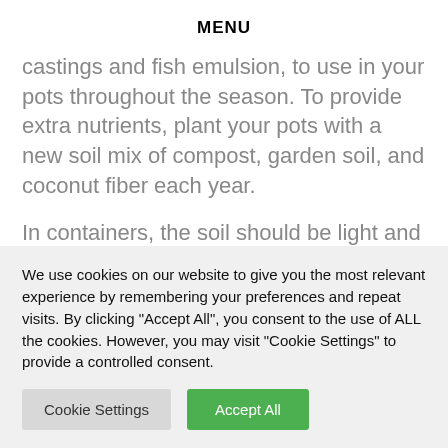MENU
castings and fish emulsion, to use in your pots throughout the season. To provide extra nutrients, plant your pots with a new soil mix of compost, garden soil, and coconut fiber each year.
In containers, the soil should be light and loose. Choose a potting soil with peat moss, pine bark,
We use cookies on our website to give you the most relevant experience by remembering your preferences and repeat visits. By clicking "Accept All", you consent to the use of ALL the cookies. However, you may visit "Cookie Settings" to provide a controlled consent.